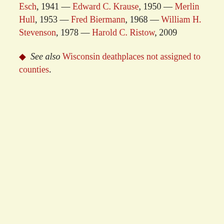Esch, 1941 — Edward C. Krause, 1950 — Merlin Hull, 1953 — Fred Biermann, 1968 — William H. Stevenson, 1978 — Harold C. Ristow, 2009
◆ See also Wisconsin deathplaces not assigned to counties.